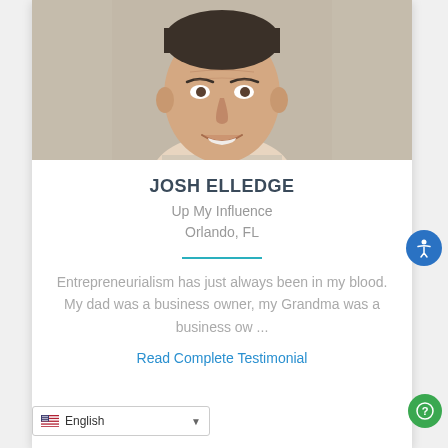[Figure (photo): Headshot of Josh Elledge, a middle-aged man with dark slicked-back hair, smiling at the camera, wearing a light shirt, against a neutral background.]
JOSH ELLEDGE
Up My Influence
Orlando, FL
Entrepreneurialism has just always been in my blood. My dad was a business owner, my Grandma was a business ow ...
Read Complete Testimonial